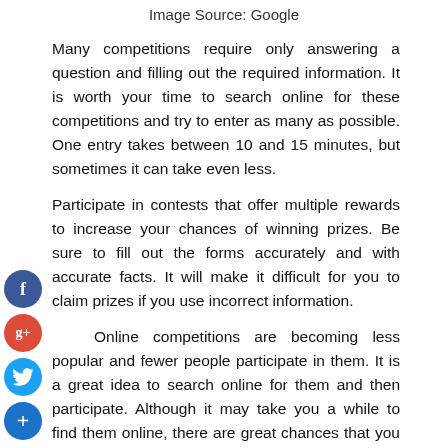Image Source: Google
Many competitions require only answering a question and filling out the required information. It is worth your time to search online for these competitions and try to enter as many as possible. One entry takes between 10 and 15 minutes, but sometimes it can take even less.
Participate in contests that offer multiple rewards to increase your chances of winning prizes. Be sure to fill out the forms accurately and with accurate facts. It will make it difficult for you to claim prizes if you use incorrect information.
[Figure (infographic): Social media share buttons on the left side: Facebook (blue circle with f), Google+ (red circle with g+), Twitter (blue circle with bird icon), Add/Plus (dark blue circle with + sign)]
Online competitions are becoming less popular and fewer people participate in them. It is a great idea to search online for them and then participate. Although it may take you a while to find them online, there are great chances that you will win a prize through these contests. Before you